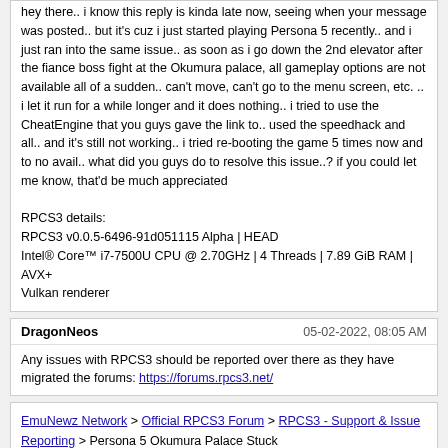hey there.. i know this reply is kinda late now, seeing when your message was posted.. but it's cuz i just started playing Persona 5 recently.. and i just ran into the same issue.. as soon as i go down the 2nd elevator after the fiance boss fight at the Okumura palace, all gameplay options are not available all of a sudden.. can't move, can't go to the menu screen, etc. .. i let it run for a while longer and it does nothing.. i tried to use the CheatEngine that you guys gave the link to.. used the speedhack and all.. and it's still not working.. i tried re-booting the game 5 times now and to no avail.. what did you guys do to resolve this issue..? if you could let me know, that'd be much appreciated

RPCS3 details:
RPCS3 v0.0.5-6496-91d051115 Alpha | HEAD
Intel® Core™ i7-7500U CPU @ 2.70GHz | 4 Threads | 7.89 GiB RAM | AVX+
Vulkan renderer
DragonNeos
05-02-2022, 08:05 AM
Any issues with RPCS3 should be reported over there as they have migrated the forums: https://forums.rpcs3.net/
EmuNewz Network > Official RPCS3 Forum > RPCS3 - Support & Issue Reporting > Persona 5 Okumura Palace Stuck
Powered By MyBB. © 2002-2022 MyBB Group